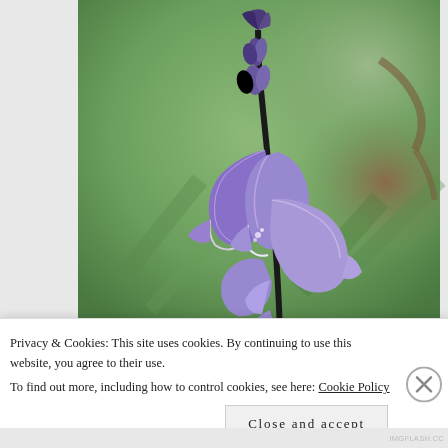[Figure (photo): Close-up photograph of purple bluebell flowers on a dark stem against a blurred green background. The flowers are bell-shaped and drooping, typical of Hyacinthoides non-scripta.]
Privacy & Cookies: This site uses cookies. By continuing to use this website, you agree to their use.
To find out more, including how to control cookies, see here: Cookie Policy